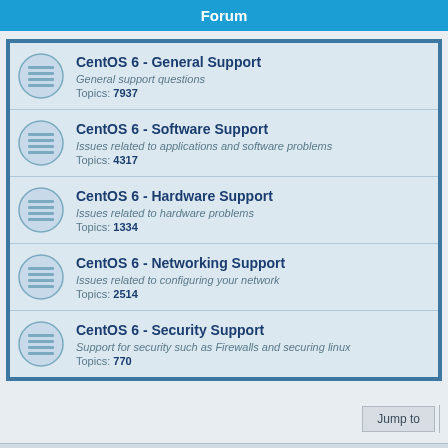Forum
CentOS 6 - General Support
General support questions
Topics: 7937
CentOS 6 - Software Support
Issues related to applications and software problems
Topics: 4317
CentOS 6 - Hardware Support
Issues related to hardware problems
Topics: 1334
CentOS 6 - Networking Support
Issues related to configuring your network
Topics: 2514
CentOS 6 - Security Support
Support for security such as Firewalls and securing linux
Topics: 770
Board index   Delete cookies   All times are UTC
Powered by phpBB® Forum Software © phpBB Limited
Privacy | Terms